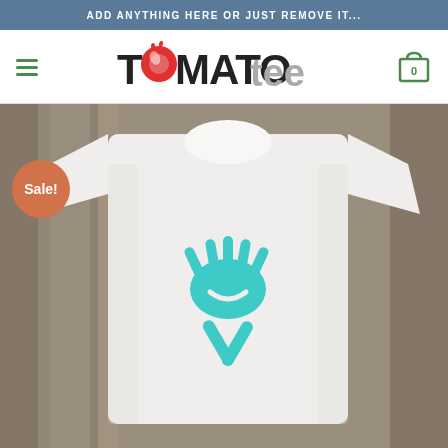ADD ANYTHING HERE OR JUST REMOVE IT...
[Figure (logo): Tomato Tee logo with hamburger menu icon on left and shopping cart icon on right]
[Figure (photo): White t-shirt with teal hand/character graphic on wooden background, with orange Sale! badge in top left corner]